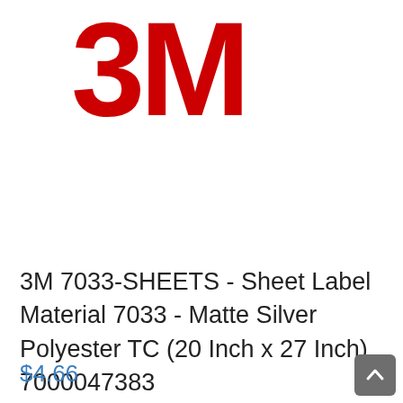[Figure (logo): 3M company logo in red, large bold numerals '3M']
3M 7033-SHEETS - Sheet Label Material 7033 - Matte Silver Polyester TC (20 Inch x 27 Inch) 7000047383
$4.66